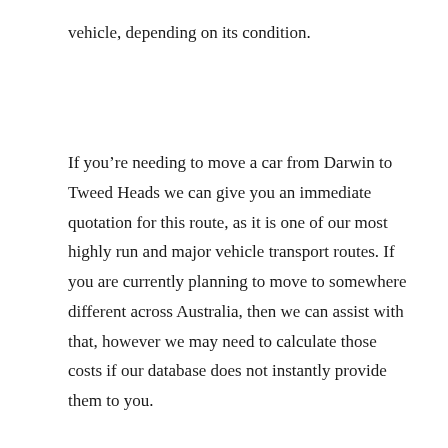vehicle, depending on its condition.
If you’re needing to move a car from Darwin to Tweed Heads we can give you an immediate quotation for this route, as it is one of our most highly run and major vehicle transport routes. If you are currently planning to move to somewhere different across Australia, then we can assist with that, however we may need to calculate those costs if our database does not instantly provide them to you.